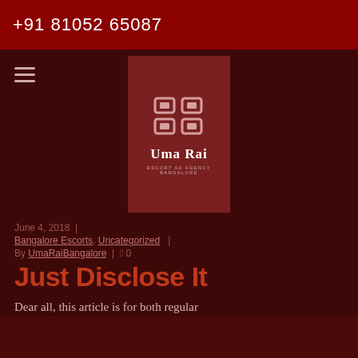+91 81052 65087
[Figure (logo): Uma Rai escort agency Bangalore logo with decorative icon and text]
June 4, 2018 | Bangalore Escorts, Uncategorized | By UmaRaiBangalore | 0
Just Disclose It
Dear all, this article is for both regular